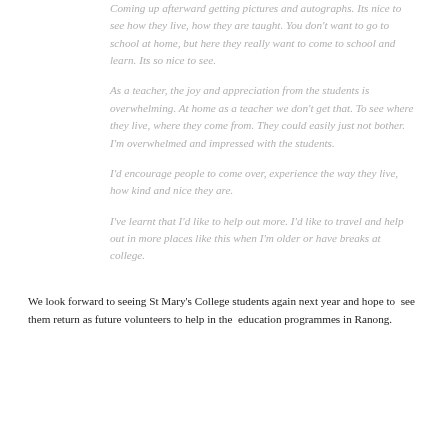Coming up afterward getting pictures and autographs. Its nice to see how they live, how they are taught. You don't want to go to school at home, but here they really want to come to school and learn. Its so nice to see.
As a teacher, the joy and appreciation from the students is overwhelming. At home as a teacher we don't get that. To see where they live, where they come from. They could easily just not bother. I'm overwhelmed and impressed with the students.
I'd encourage people to come over, experience the way they live, how kind and nice they are.
I've learnt that I'd like to help out more. I'd like to travel and help out in more places like this when I'm older or have breaks at college.
We look forward to seeing St Mary's College students again next year and hope to see them return as future volunteers to help in the education programmes in Ranong.